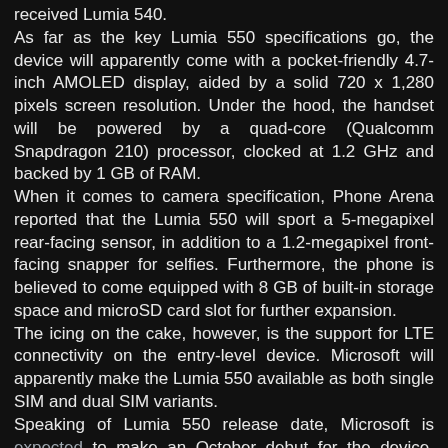received Lumia 540. As far as the key Lumia 550 specifications go, the device will apparently come with a pocket-friendly 4.7-inch AMOLED display, aided by a solid 720 x 1,280 pixels screen resolution. Under the hood, the handset will be powered by a quad-core (Qualcomm Snapdragon 210) processor, clocked at 1.2 GHz and backed by 1 GB of RAM. When it comes to camera specification, Phone Arena reported that the Lumia 550 will sport a 5-megapixel rear-facing sensor, in addition to a 1.2-megapixel front-facing snapper for selfies. Furthermore, the phone is believed to come equipped with 8 GB of built-in storage space and microSD card slot for further expansion. The icing on the cake, however, is the support for LTE connectivity on the entry-level device. Microsoft will apparently make the Lumia 550 available as both single SIM and dual SIM variants. Speaking of Lumia 550 release date, Microsoft is expected to make an October debut for the device. Meanwhile, the Windows 10 OS will reportedly be released on Oct. 6, alongside the Lumia 950 and Lumia 950 XL.